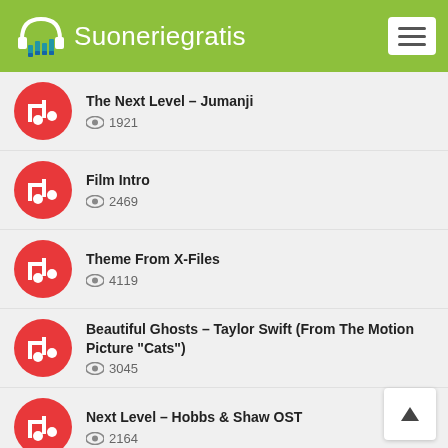Suoneriegratis
The Next Level – Jumanji, 1921 views
Film Intro, 2469 views
Theme From X-Files, 4119 views
Beautiful Ghosts – Taylor Swift (From The Motion Picture "Cats"), 3045 views
Next Level – Hobbs & Shaw OST, 2164 views
Indiana Jones, 8280 views